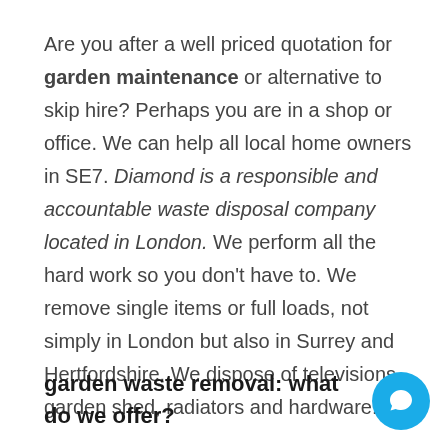Are you after a well priced quotation for garden maintenance or alternative to skip hire? Perhaps you are in a shop or office. We can help all local home owners in SE7. Diamond is a responsible and accountable waste disposal company located in London. We perform all the hard work so you don't have to. We remove single items or full loads, not simply in London but also in Surrey and Hertfordshire. We dispose of televisions, garden shed, radiators and hardware.
garden waste removal: what do we offer?